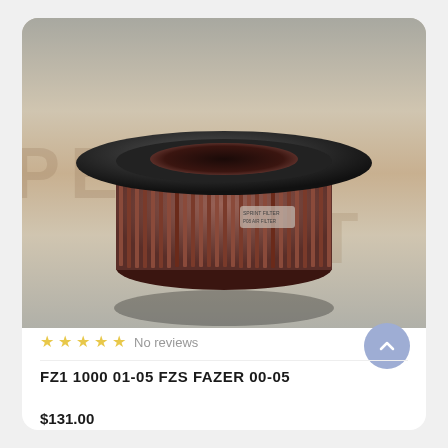[Figure (photo): Circular aftermarket performance air filter (sprint filter style) with black rubber rim and reddish-brown cotton gauze filter element, placed on a branded background mat. The filter is round/cylindrical with vertical fins visible around the perimeter.]
No reviews
FZ1 1000 01-05 FZS FAZER 00-05
$131.00